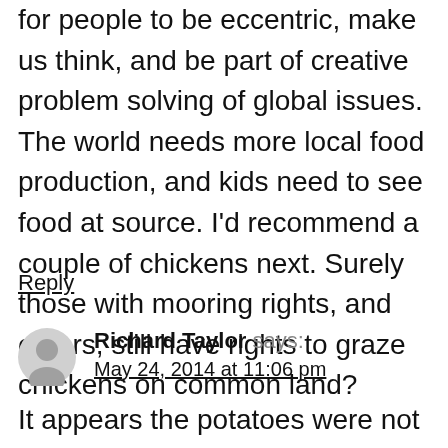for people to be eccentric, make us think, and be part of creative problem solving of global issues. The world needs more local food production, and kids need to see food at source. I'd recommend a couple of chickens next. Surely those with mooring rights, and others, still have rights to graze chickens on common land?
Reply
Richard Taylor says: May 24, 2014 at 11:06 pm
It appears the potatoes were not all removed by the council and some have